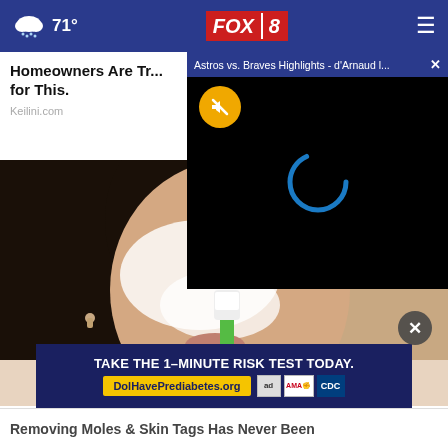71° FOX 8
Astros vs. Braves Highlights - d'Arnaud l...
Homeowners Are Tr... for This.
Keilini.com
[Figure (photo): Video player loading screen (black) with yellow mute button and blue spinner]
[Figure (photo): Woman applying white cream/paste to face with a green toothbrush, close-up skincare photo]
TAKE THE 1-MINUTE RISK TEST TODAY. DolHavePrediabetes.org
Removing Moles & Skin Tags Has Never Been